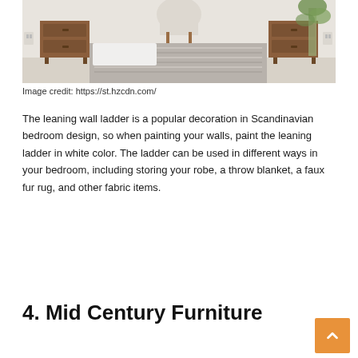[Figure (photo): Bedroom interior showing wooden bedside tables/nightstands, a light-colored chair, a knit throw blanket on a bed, and a plant in the corner. Scandinavian style decor.]
Image credit: https://st.hzcdn.com/
The leaning wall ladder is a popular decoration in Scandinavian bedroom design, so when painting your walls, paint the leaning ladder in white color. The ladder can be used in different ways in your bedroom, including storing your robe, a throw blanket, a faux fur rug, and other fabric items.
4. Mid Century Furniture